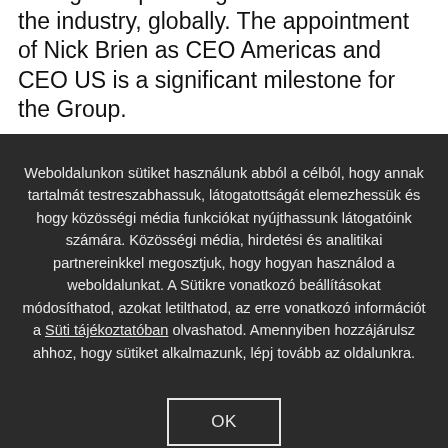certainties in an uncertain world, and realising our ambition to be a 100 percent digital economy business by 2020 requires the strongest top management team from the industry, globally. The appointment of Nick Brien as CEO Americas and CEO US is a significant milestone for the Group.
Weboldalunkon sütiket használunk abból a célból, hogy annak tartalmát testreszabhassuk, látogatottságát elemezhessük és hogy közösségi média funkciókat nyújthassunk látogatóink számára. Közösségi média, hirdetési és analitikai partnereinkkel megosztjuk, hogy hogyan használod a weboldalunkat. A Sütikre vonatkozó beállításokat módosíthatod, azokat letilthatod, az erre vonatkozó információt a Süti tájékoztatóban olvashatod. Amennyiben hozzájárulsz ahhoz, hogy sütiket alkalmazunk, lépj tovább az oldalunkra.
OK